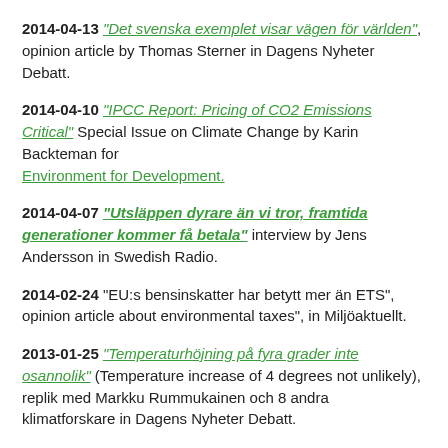2014-04-13 "Det svenska exemplet visar vägen för världen", opinion article by Thomas Sterner in Dagens Nyheter Debatt.
2014-04-10 "IPCC Report: Pricing of CO2 Emissions Critical" Special Issue on Climate Change by Karin Backteman for Environment for Development.
2014-04-07 "Utsläppen dyrare än vi tror, framtida generationer kommer få betala" interview by Jens Andersson in Swedish Radio.
2014-02-24 "EU:s bensinskatter har betytt mer än ETS", opinion article about environmental taxes", in Miljöaktuellt.
2013-01-25 "Temperaturhöjning på fyra grader inte osannolik" (Temperature increase of 4 degrees not unlikely), replik med Markku Rummukainen och 8 andra klimatforskare in Dagens Nyheter Debatt.